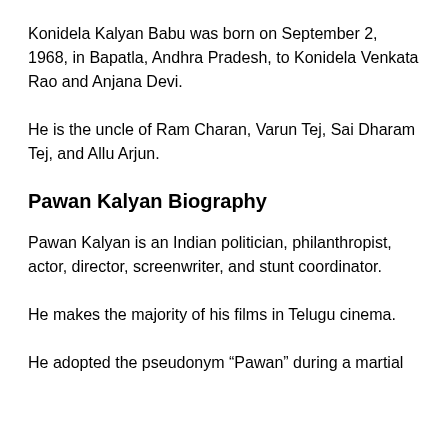Konidela Kalyan Babu was born on September 2, 1968, in Bapatla, Andhra Pradesh, to Konidela Venkata Rao and Anjana Devi.
He is the uncle of Ram Charan, Varun Tej, Sai Dharam Tej, and Allu Arjun.
Pawan Kalyan Biography
Pawan Kalyan is an Indian politician, philanthropist, actor, director, screenwriter, and stunt coordinator.
He makes the majority of his films in Telugu cinema.
He adopted the pseudonym “Pawan” during a martial